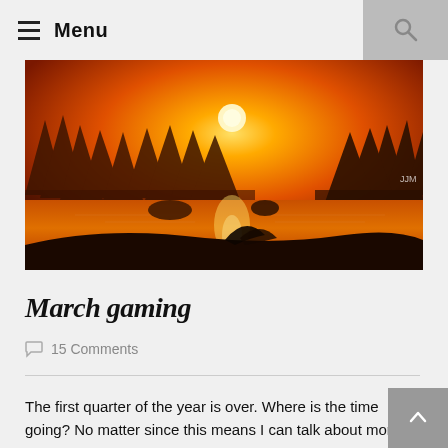☰ Menu
[Figure (screenshot): A video game landscape screenshot showing a sunset scene over a lake with pine trees silhouetted against an orange sky, golden light reflecting off the water]
March gaming
💬  15 Comments
The first quarter of the year is over. Where is the time going? No matter since this means I can talk about more games